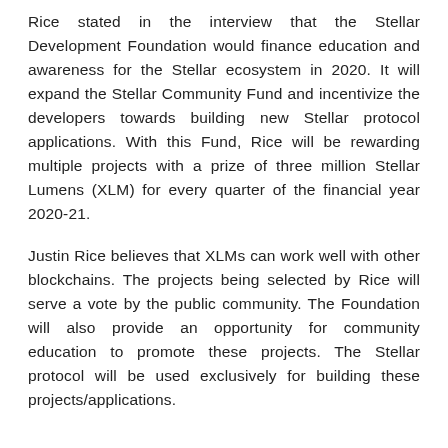Rice stated in the interview that the Stellar Development Foundation would finance education and awareness for the Stellar ecosystem in 2020. It will expand the Stellar Community Fund and incentivize the developers towards building new Stellar protocol applications. With this Fund, Rice will be rewarding multiple projects with a prize of three million Stellar Lumens (XLM) for every quarter of the financial year 2020-21.
Justin Rice believes that XLMs can work well with other blockchains. The projects being selected by Rice will serve a vote by the public community. The Foundation will also provide an opportunity for community education to promote these projects. The Stellar protocol will be used exclusively for building these projects/applications.